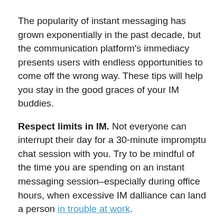The popularity of instant messaging has grown exponentially in the past decade, but the communication platform's immediacy presents users with endless opportunities to come off the wrong way. These tips will help you stay in the good graces of your IM buddies.
Respect limits in IM. Not everyone can interrupt their day for a 30-minute impromptu chat session with you. Try to be mindful of the time you are spending on an instant messaging session–especially during office hours, when excessive IM dalliance can land a person in trouble at work.
Avoid crosstalk. It's common for IM sessions with a single contact to split into two or more simultaneous conversations, since thoughts arrive faster than fingers can type them. Things get tricky